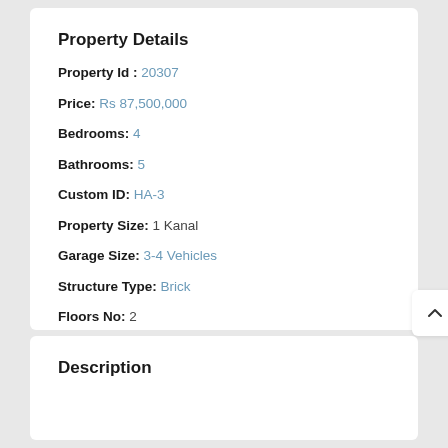Property Details
Property Id : 20307
Price: Rs 87,500,000
Bedrooms: 4
Bathrooms: 5
Custom ID: HA-3
Property Size: 1 Kanal
Garage Size: 3-4 Vehicles
Structure Type: Brick
Floors No: 2
Description